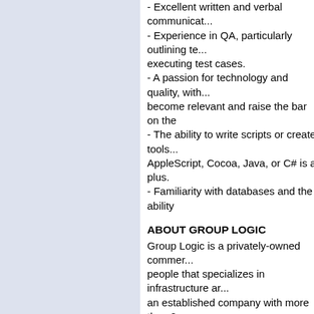- Excellent written and verbal communicat...
- Experience in QA, particularly outlining te... executing test cases.
- A passion for technology and quality, with... become relevant and raise the bar on the
- The ability to write scripts or create tools... AppleScript, Cocoa, Java, or C# is a plus.
- Familiarity with databases and the ability
ABOUT GROUP LOGIC
Group Logic is a privately-owned commer... people that specializes in infrastructure ar... an established company with more than 2... up without the risks. Group Logic is locate... Ballston Metro station and just ten minutes... area but we offer flexible work hours and p... about Group Logic, our products and our c
Our employee benefits include:
- Competitive salaries
- Stock options
- Excellent health insurance benefits
- Generous and flexible vacation / PTO all
- Disability and life insurance
- 401K with matching
- Company-paid parking or public transit re
- Reimbursement for your home high-spee
Other perks include:
- Purely commercial software developmen